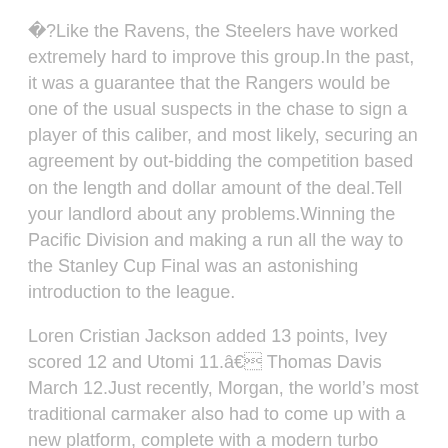&#xFFFD;?Like the Ravens, the Steelers have worked extremely hard to improve this group.In the past, it was a guarantee that the Rangers would be one of the usual suspects in the chase to sign a player of this caliber, and most likely, securing an agreement by out-bidding the competition based on the length and dollar amount of the deal.Tell your landlord about any problems.Winning the Pacific Division and making a run all the way to the Stanley Cup Final was an astonishing introduction to the league.
Loren Cristian Jackson added 13 points, Ivey scored 12 and Utomi 11.â Thomas Davis March 12.Just recently, Morgan, the world’s most traditional carmaker also had to come up with a new platform, complete with a modern turbo engine from BMW.Second wind: He returned to play for the Lakers in 1996, for one season , and finished his Hall of Fame career in Los Angeles.
for details.